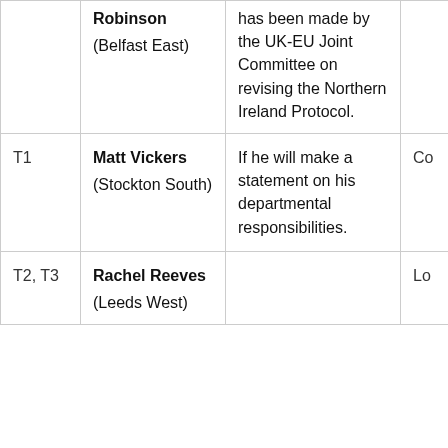|  | Member | Question |  |
| --- | --- | --- | --- |
|  | Robinson (Belfast East) | ...has been made by the UK-EU Joint Committee on revising the Northern Ireland Protocol. |  |
| T1 | Matt Vickers (Stockton South) | If he will make a statement on his departmental responsibilities. | Co |
| T2, T3 | Rachel Reeves (Leeds West) |  | Lo |